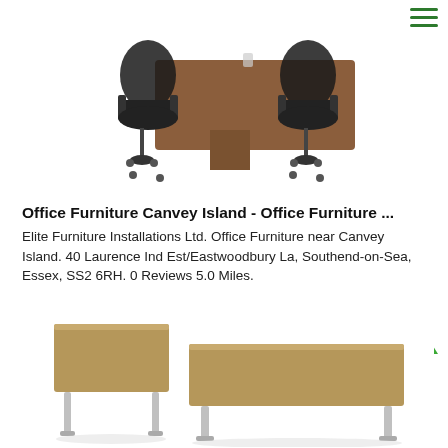[Figure (photo): Conference table with two black mesh office chairs on either side, brown walnut finish tabletop]
Office Furniture Canvey Island - Office Furniture ...
Elite Furniture Installations Ltd. Office Furniture near Canvey Island. 40 Laurence Ind Est/Eastwoodbury La, Southend-on-Sea, Essex, SS2 6RH. 0 Reviews 5.0 Miles.
contact us
[Figure (photo): Two office coffee tables with light brown wood tops and white metal legs, one smaller square and one larger rectangular]